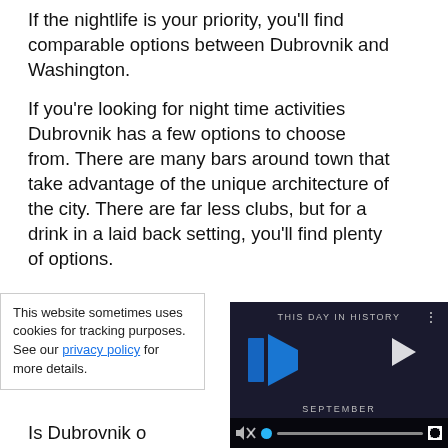If the nightlife is your priority, you'll find comparable options between Dubrovnik and Washington.
If you're looking for night time activities Dubrovnik has a few options to choose from. There are many bars around town that take advantage of the unique architecture of the city. There are far less clubs, but for a drink in a laid back setting, you'll find plenty of options.
Many people hea[d to Dubrovnik for the] nightlife scene. H[...]
[Figure (screenshot): Video player overlay showing 'THIS DAY IN HISTORY' with blue logo icon, play button, September label, and video controls including mute, progress bar, and fullscreen button]
This website sometimes uses cookies for tracking purposes. See our privacy policy for more details.
Is Dubrovnik o[r Washington...]